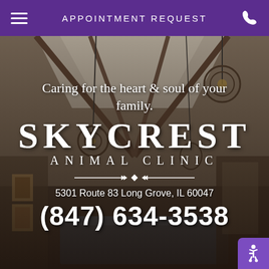APPOINTMENT REQUEST
[Figure (photo): Interior of Skycrest Animal Clinic waiting area, showing vaulted ceiling with exposed wooden beams, decorative pendant light fixtures, framed artwork on walls, and a reception desk in the foreground. The space has a warm, elegant atmosphere.]
Caring for the heart & soul of your family.
SKYCREST ANIMAL CLINIC
5301 Route 83 Long Grove, IL 60047
(847) 634-3538